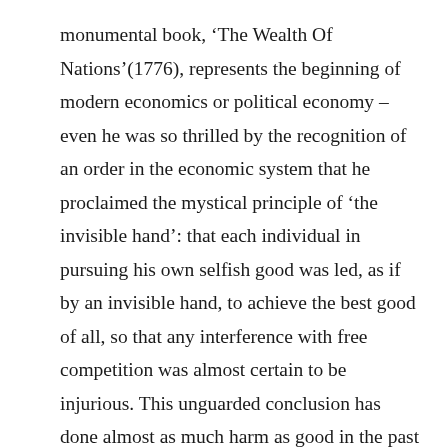monumental book, ‘The Wealth Of Nations’(1776), represents the beginning of modern economics or political economy – even he was so thrilled by the recognition of an order in the economic system that he proclaimed the mystical principle of ‘the invisible hand’: that each individual in pursuing his own selfish good was led, as if by an invisible hand, to achieve the best good of all, so that any interference with free competition was almost certain to be injurious. This unguarded conclusion has done almost as much harm as good in the past century and a half, especially since too often it is all that some of our leading citizens remember, 30 years later, of their college course in economics.”